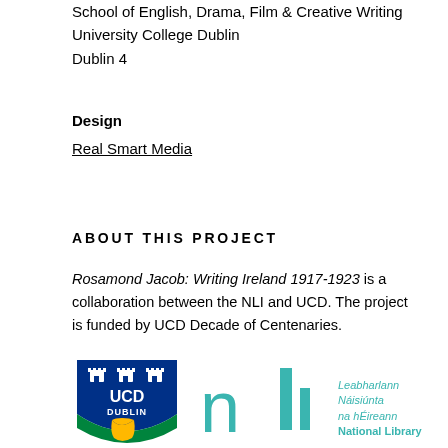School of English, Drama, Film & Creative Writing
University College Dublin
Dublin 4
Design
Real Smart Media
ABOUT THIS PROJECT
Rosamond Jacob: Writing Ireland 1917-1923 is a collaboration between the NLI and UCD. The project is funded by UCD Decade of Centenaries.
[Figure (logo): UCD Dublin shield logo and NLI (National Library of Ireland / Leabharlann Náisiúnta na hÉireann) logo side by side]